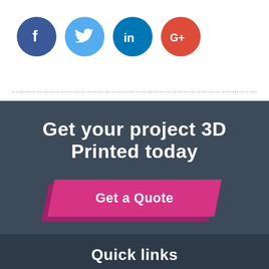[Figure (other): Social media icons: Facebook (blue circle with f), Twitter (light blue circle with bird), LinkedIn (dark blue circle with 'in'), Google+ (red circle with G+)]
Get your project 3D Printed today
Get a Quote
Quick links